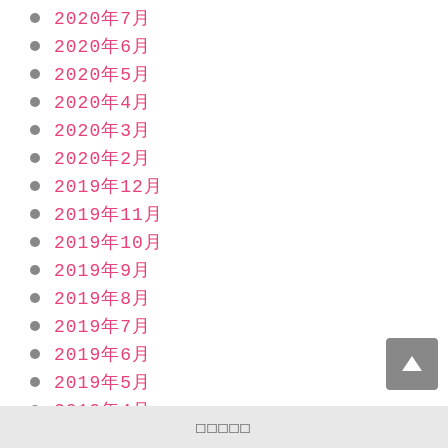2020年7月
2020年6月
2020年5月
2020年4月
2020年3月
2020年2月
2019年12月
2019年11月
2019年10月
2019年9月
2019年8月
2019年7月
2019年6月
2019年5月
2019年4月
□□□□□